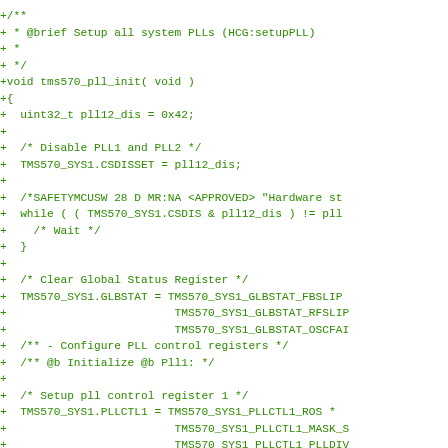+/**
+ * @brief Setup all system PLLs (HCG:setupPLL)
+ *
+ */
+void tms570_pll_init( void )
+{
+  uint32_t pll12_dis = 0x42;
+
+  /* Disable PLL1 and PLL2 */
+  TMS570_SYS1.CSDISSET = pll12_dis;
+
+  /*SAFETYMCUSW 28 D MR:NA <APPROVED> "Hardware st
+  while ( ( TMS570_SYS1.CSDIS & pll12_dis ) != pll
+    /* Wait */
+  }
+
+  /* Clear Global Status Register */
+  TMS570_SYS1.GLBSTAT = TMS570_SYS1_GLBSTAT_FBSLIP
+                         TMS570_SYS1_GLBSTAT_RFSLIP
+                         TMS570_SYS1_GLBSTAT_OSCFAI
+  /** - Configure PLL control registers */
+  /** @b Initialize @b Pll1: */
+
+  /* Setup pll control register 1 */
+  TMS570_SYS1.PLLCTL1 = TMS570_SYS1_PLLCTL1_ROS *
+                         TMS570_SYS1_PLLCTL1_MASK_S
+                         TMS570_SYS1_PLLCTL1_PLLDIV
+                         TMS570_SYS1_PLLCTL1_ROF *
+                         TMS570_SYS1_PLLCTL1_REFCLK
+                         TMS570_SYS1_PLLCTL1_PLLMUL